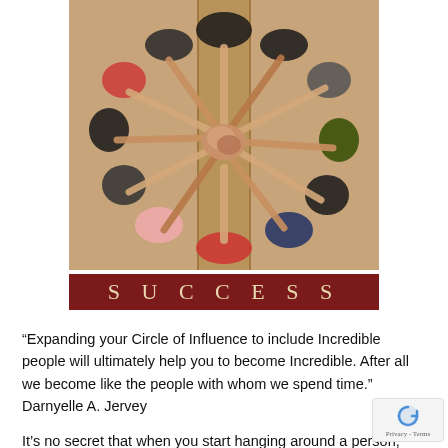[Figure (photo): Overhead view of a large group of people standing in a circle with arms reaching into the center, hands touching in the middle, viewed from above on a wooden floor. Below the photo is a dark red banner with the word SUCCESS in spaced gold/cream letters.]
“Expanding your Circle of Influence to include Incredible people will ultimately help you to become Incredible. After all we become like the people with whom we spend time.” Darnyelle A. Jervey
It’s no secret that when you start hanging around a person, eventually others we say “You act just like X.”